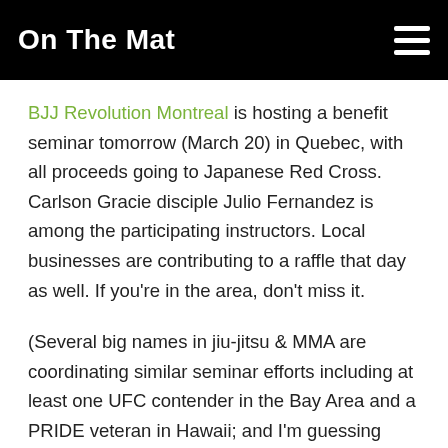On The Mat
BJJ Revolution Montreal is hosting a benefit seminar tomorrow (March 20) in Quebec, with all proceeds going to Japanese Red Cross. Carlson Gracie disciple Julio Fernandez is among the participating instructors. Local businesses are contributing to a raffle that day as well. If you're in the area, don't miss it.
(Several big names in jiu-jitsu & MMA are coordinating similar seminar efforts including at least one UFC contender in the Bay Area and a PRIDE veteran in Hawaii; and I'm guessing there are more to